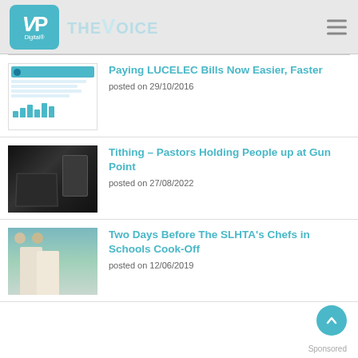VP Digital THE VOICE
[Figure (screenshot): LUCELEC bill document thumbnail]
Paying LUCELEC Bills Now Easier, Faster
posted on 29/10/2016
[Figure (photo): Hands holding an empty black wallet]
Tithing – Pastors Holding People up at Gun Point
posted on 27/08/2022
[Figure (photo): Two women in white uniforms outdoors]
Two Days Before The SLHTA's Chefs in Schools Cook-Off
posted on 12/06/2019
Sponsored